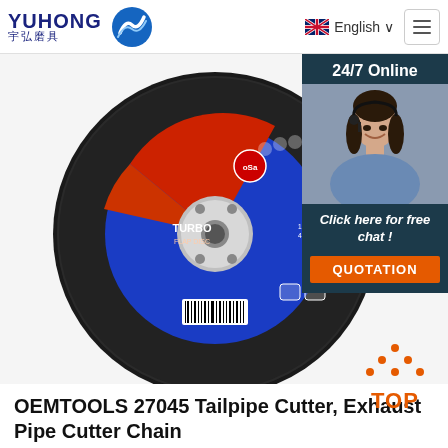YUHONG 宇弘磨具 | English | Menu
[Figure (photo): A circular abrasive cutting disc with black textured surface, blue and red label in center, with a metallic center hole. Product appears to be a grinding/cutting wheel.]
24/7 Online
Click here for free chat !
QUOTATION
TOP
OEMTOOLS 27045 Tailpipe Cutter, Exhaust Pipe Cutter Chain